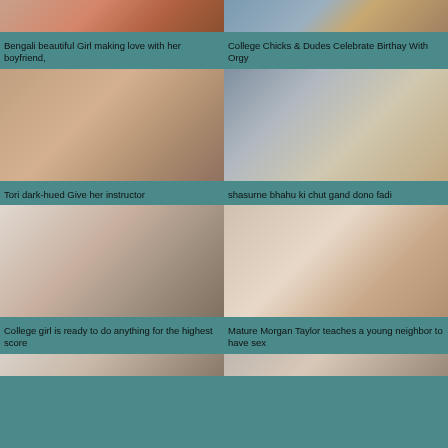[Figure (photo): Thumbnail image top left]
Bengali beautiful Girl making love with her boyfriend,
[Figure (photo): Thumbnail image top right]
College Chicks & Dudes Celebrate Birthay With Orgy
[Figure (photo): Thumbnail image middle left]
Tori dark-hued Give her instructor
[Figure (photo): Thumbnail image middle right]
shasurne bhahu ki chut gand dono fadi
[Figure (photo): Thumbnail image lower left]
College girl is ready to do anything for the highest score
[Figure (photo): Thumbnail image lower right]
Mature Morgan Taylor teaches a young neighbor to have sex
[Figure (photo): Thumbnail image bottom left partial]
[Figure (photo): Thumbnail image bottom right partial]